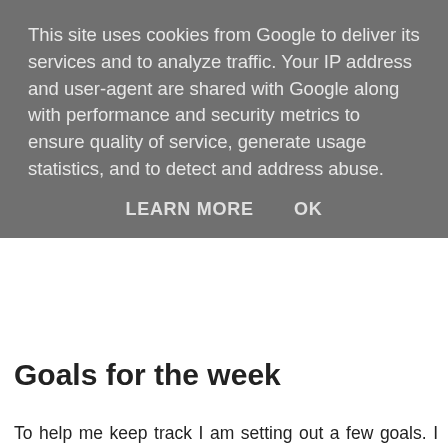This site uses cookies from Google to deliver its services and to analyze traffic. Your IP address and user-agent are shared with Google along with performance and security metrics to ensure quality of service, generate usage statistics, and to detect and address abuse.
LEARN MORE    OK
Goals for the week
To help me keep track I am setting out a few goals. I hope that these will be easy to achieve, although my physical health will have a fair bit of impact on them, so I'm not going to get down about not hitting them all. For my first week I am keeping it to three goals, and I'll maybe add one a week to work towards my wellbeing as the month goes on.
Listen to the Daily Wellness playlist at least five days a week
Aim for eight hours of sleep a night
Go for a long walk at least once